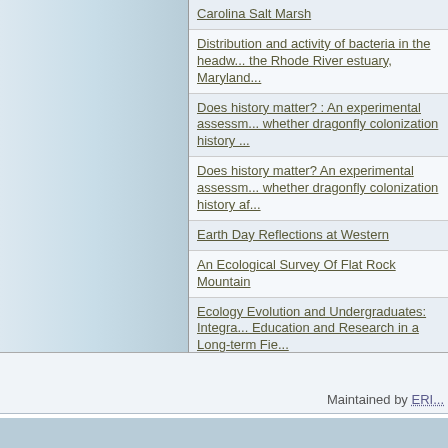Carolina Salt Marsh
Distribution and activity of bacteria in the headwaters of the Rhode River estuary, Maryland...
Does history matter? : An experimental assessment of whether dragonfly colonization history ...
Does history matter? An experimental assessment of whether dragonfly colonization history af...
Earth Day Reflections at Western
An Ecological Survey Of Flat Rock Mountain
Ecology Evolution and Undergraduates: Integrating Education and Research in a Long-term Fie...
Ecology and Socialism: Solutions to Capitalist B... Crisis
Ecomusicologies
Maintained by ERI...